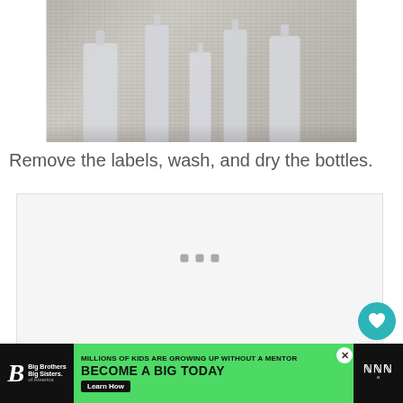[Figure (photo): Photo of multiple glass bottles spray-painted white/grey, arranged on newspaper on a surface. A DIY craft project showing bottles prepared for decoration.]
Remove the labels, wash, and dry the bottles.
[Figure (photo): Loading/placeholder area with three small grey dots indicating an image is loading.]
[Figure (screenshot): Advertisement banner: Big Brothers Big Sisters - MILLIONS OF KIDS ARE GROWING UP WITHOUT A MENTOR. BECOME A BIG TODAY. Learn How button. With WW logo on the right.]